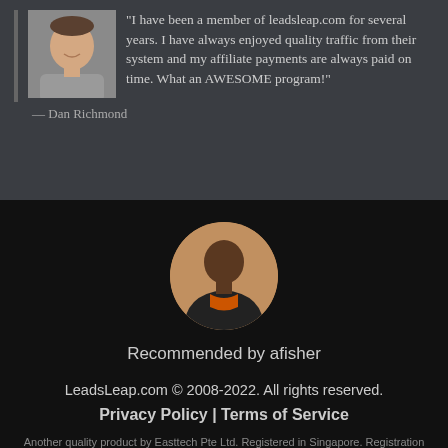[Figure (photo): Headshot of Dan Richmond, a white male smiling, grey t-shirt, small square photo]
"I have been a member of leadsleap.com for several years. I have always enjoyed quality traffic from their system and my affiliate payments are always paid on time. What an AWESOME program!"
— Dan Richmond
[Figure (photo): Circular profile photo of afisher, a Black male wearing orange shirt and dark jacket]
Recommended by afisher
LeadsLeap.com © 2008-2022. All rights reserved.
Privacy Policy | Terms of Service
Another quality product by Easttech Pte Ltd. Registered in Singapore. Registration No.: 200301652W.